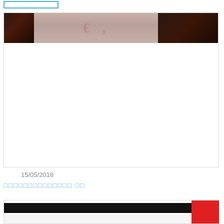[Figure (other): UI button element with light blue border, empty white fill]
[Figure (photo): Panel or assembly hall photo showing dark wood/curtain areas on left and right with a lighter center area containing faded red circular emblem/logo and partial text]
15/05/2018
xxxxxxxxxxxxxxxx xx
[Figure (other): Bottom section showing a black horizontal bar on left majority, white area below, and a red rectangle on the right side]